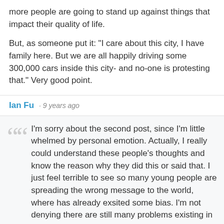more people are going to stand up against things that impact their quality of life.

But, as someone put it: "I care about this city, I have family here. But we are all happily driving some 300,000 cars inside this city- and no-one is protesting that." Very good point.
Ian Fu · 9 years ago
I'm sorry about the second post, since I'm little whelmed by personal emotion. Actually, I really could understand these people's thoughts and know the reason why they did this or said that. I just feel terrible to see so many young people are spreading the wrong message to the world, where has already exsited some bias. I'm not denying there are still many problems existing in China, but it needs a phase to improve them. I